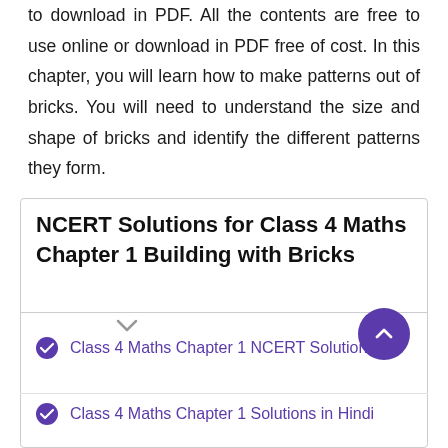to download in PDF. All the contents are free to use online or download in PDF free of cost. In this chapter, you will learn how to make patterns out of bricks. You will need to understand the size and shape of bricks and identify the different patterns they form.
NCERT Solutions for Class 4 Maths Chapter 1 Building with Bricks
Class 4 Maths Chapter 1 NCERT Solutions
Class 4 Maths Chapter 1 Solutions in Hindi